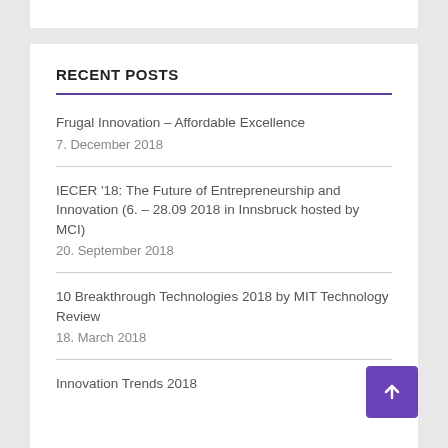RECENT POSTS
Frugal Innovation – Affordable Excellence
7. December 2018
IECER '18: The Future of Entrepreneurship and Innovation (6. – 28.09 2018 in Innsbruck hosted by MCI)
20. September 2018
10 Breakthrough Technologies 2018 by MIT Technology Review
18. March 2018
Innovation Trends 2018